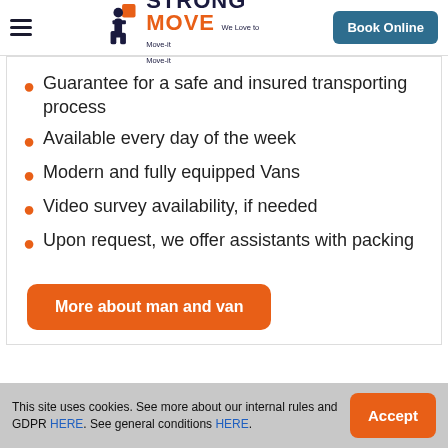Strong Move — We Love to Move-it Move-it | Book Online
Guarantee for a safe and insured transporting process
Available every day of the week
Modern and fully equipped Vans
Video survey availability, if needed
Upon request, we offer assistants with packing
More about man and van
This site uses cookies. See more about our internal rules and GDPR HERE. See general conditions HERE. | Accept